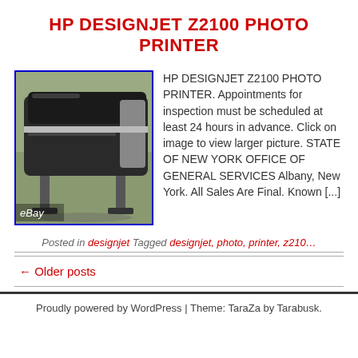HP DESIGNJET Z2100 PHOTO PRINTER
[Figure (photo): Photo of HP DesignJet Z2100 large format photo printer, shown from side angle in a room. eBay watermark visible at bottom left.]
HP DESIGNJET Z2100 PHOTO PRINTER. Appointments for inspection must be scheduled at least 24 hours in advance. Click on image to view larger picture. STATE OF NEW YORK OFFICE OF GENERAL SERVICES Albany, New York. All Sales Are Final. Known […]
Posted in designjet Tagged designjet, photo, printer, z210…
← Older posts
Proudly powered by WordPress | Theme: TaraZa by Tarabusk.